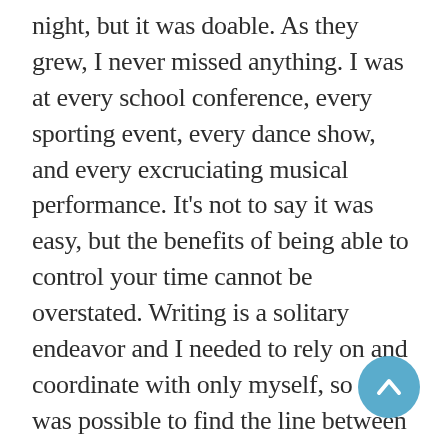night, but it was doable. As they grew, I never missed anything. I was at every school conference, every sporting event, every dance show, and every excruciating musical performance. It's not to say it was easy, but the benefits of being able to control your time cannot be overstated. Writing is a solitary endeavor and I needed to rely on and coordinate with only myself, so it was possible to find the line between parenting and working that led to fulfillment. I scheduled all my studio and network meetings during the school day. Unless something drastic happened with a particular writing project I worked six hours straight a day, which is more work than a lot of people...
[Figure (other): A teal/blue circular scroll-to-top button with a white upward chevron arrow, positioned in the bottom-right corner of the page.]